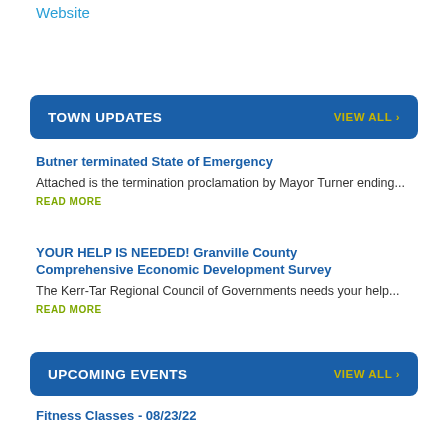Website
TOWN UPDATES   VIEW ALL >
Butner terminated State of Emergency
Attached is the termination proclamation by Mayor Turner ending...
READ MORE
YOUR HELP IS NEEDED! Granville County Comprehensive Economic Development Survey
The Kerr-Tar Regional Council of Governments needs your help...
READ MORE
UPCOMING EVENTS   VIEW ALL >
Fitness Classes - 08/23/22